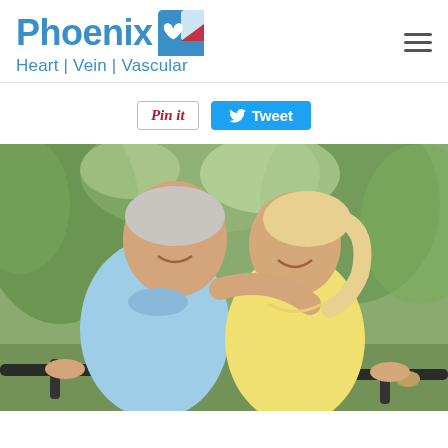Phoenix Heart | Vein | Vascular
[Figure (screenshot): Pinterest Pin it button and Twitter Tweet button social sharing buttons]
[Figure (photo): An elderly couple riding bicycles outdoors, smiling. The man wears a light blue polo shirt and has grey hair. The woman wears a yellow top and has blonde hair. They appear happy and active.]